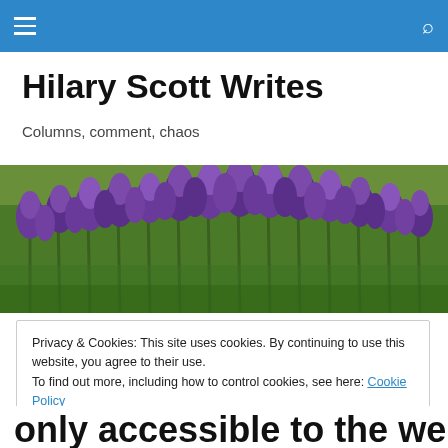navigation bar with menu icon and search icon
Hilary Scott Writes
Columns, comment, chaos
[Figure (photo): Close-up photo of purple lavender flowers with green stems against a blurred background]
Privacy & Cookies: This site uses cookies. By continuing to use this website, you agree to their use.
To find out more, including how to control cookies, see here: Cookie Policy
Close and accept
only accessible to the well-off?